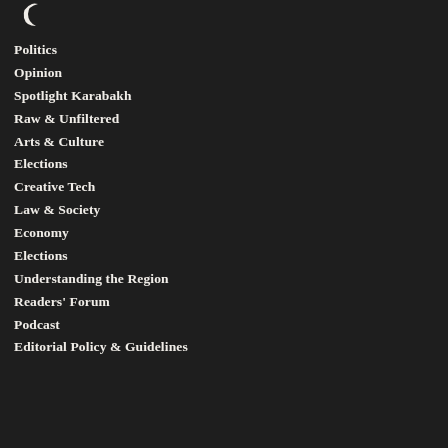[Figure (logo): Crescent moon logo icon at top left]
Politics
Opinion
Spotlight Karabakh
Raw & Unfiltered
Arts & Culture
Elections
Creative Tech
Law & Society
Economy
Elections
Understanding the Region
Readers' Forum
Podcast
Editorial Policy & Guidelines